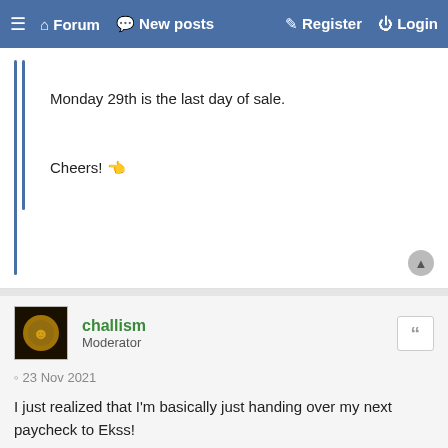≡ Forum  New posts  Register  Login
Monday 29th is the last day of sale.
Cheers! 👍
challism
Moderator
23 Nov 2021
I just realized that I'm basically just handing over my next paycheck to Ekss!
Can you please stop making REs now, Erik?